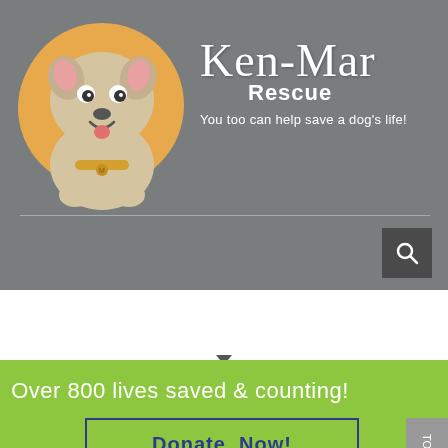[Figure (logo): Ken-Mar Rescue logo with animated dog illustration in orange circle and script text]
Ken-Mar Rescue
You too can help save a dog's life!
Over 800 lives saved & counting!
Donate Now!